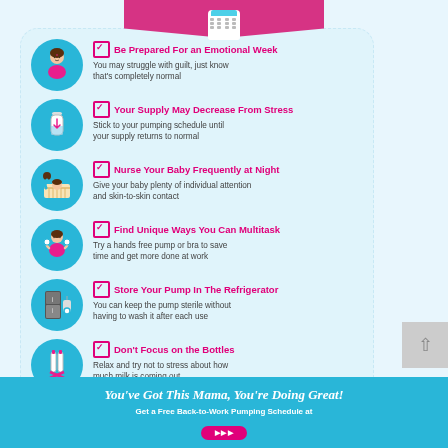Be Prepared For an Emotional Week — You may struggle with guilt, just know that's completely normal
Your Supply May Decrease From Stress — Stick to your pumping schedule until your supply returns to normal
Nurse Your Baby Frequently at Night — Give your baby plenty of individual attention and skin-to-skin contact
Find Unique Ways You Can Multitask — Try a hands free pump or bra to save time and get more done at work
Store Your Pump In The Refrigerator — You can keep the pump sterile without having to wash it after each use
Don't Focus on the Bottles — Relax and try not to stress about how much milk is coming out
You've Got This Mama, You're Doing Great!
Get a Free Back-to-Work Pumping Schedule at